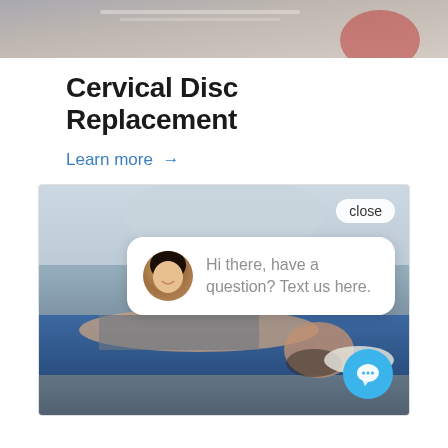[Figure (photo): Top portion of a medical office scene showing a desk with papers and a person in a red shirt, partially visible]
Cervical Disc Replacement
Learn more →
[Figure (photo): Medical professional treating a patient lying face-down on a blue treatment table, with a chat popup overlay showing an avatar and message 'Hi there, have a question? Text us here.' along with a close button and chat icon button]